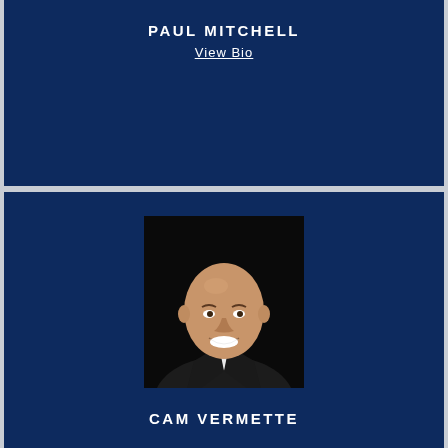PAUL MITCHELL
View Bio
[Figure (photo): Professional headshot of Cam Vermette, a bald man smiling, wearing a dark suit jacket and white shirt, photographed against a black background.]
CAM VERMETTE
View Bio